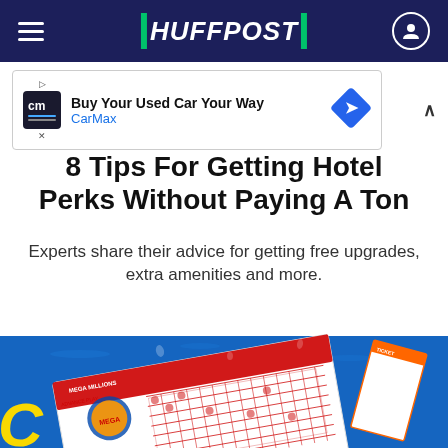HUFFPOST
[Figure (infographic): CarMax advertisement banner: Buy Your Used Car Your Way]
8 Tips For Getting Hotel Perks Without Paying A Ton
Experts share their advice for getting free upgrades, extra amenities and more.
[Figure (photo): Mega Millions lottery ticket on blue background with water droplets]